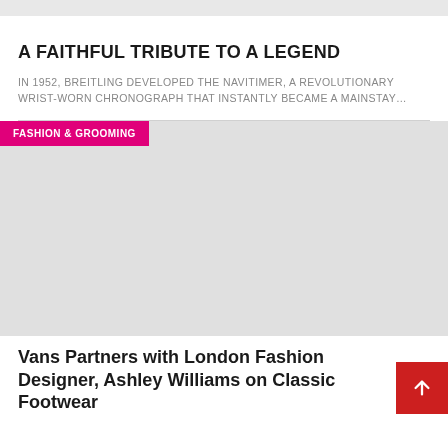A FAITHFUL TRIBUTE TO A LEGEND
IN 1952, BREITLING DEVELOPED THE NAVITIMER, A REVOLUTIONARY WRIST-WORN CHRONOGRAPH THAT INSTANTLY BECAME A MAINSTAY…
[Figure (photo): Fashion & Grooming image placeholder — large grey rectangle with pink category label]
Vans Partners with London Fashion Designer, Ashley Williams on Classic Footwear